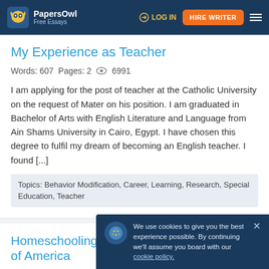PapersOwl Free Essays | LOG IN | HIRE WRITER
My Experience as Teacher
Words: 607  Pages: 2  👁 6991
I am applying for the post of teacher at the Catholic University on the request of Mater on his position. I am graduated in Bachelor of Arts with English Literature and Language from Ain Shams University in Cairo, Egypt. I have chosen this degree to fulfil my dream of becoming an English teacher. I found [...]
Topics: Behavior Modification, Career, Learning, Research, Special Education, Teacher
Homeschooling in the United States of America
Words: 1439  Pages: 5  👁 4291
We use cookies to give you the best experience possible. By continuing we'll assume you board with our cookie policy.